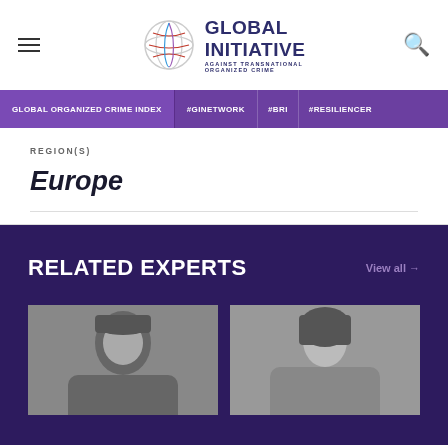Global Initiative Against Transnational Organized Crime
GLOBAL ORGANIZED CRIME INDEX | #GINETWORK | #BRI | #RESILIENCER
REGION(S)
Europe
RELATED EXPERTS
View all →
[Figure (photo): Grayscale photo of a person (expert 1)]
[Figure (photo): Grayscale photo of a person with dark hair (expert 2)]